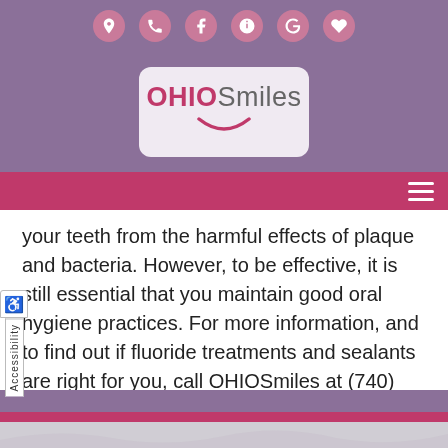[Figure (screenshot): OHIOSmiles dental website header with icon bar (map, phone, facebook, yelp, google, heart icons), purple logo bar with OHIOSmiles logo in rounded rectangle, and pink navigation bar with hamburger menu icon]
your teeth from the harmful effects of plaque and bacteria. However, to be effective, it is still essential that you maintain good oral hygiene practices. For more information, and to find out if fluoride treatments and sealants are right for you, call OHIOSmiles at (740) 781-0540 today.
[Figure (screenshot): Accessibility tab on left side and footer bars at bottom of dental website page]